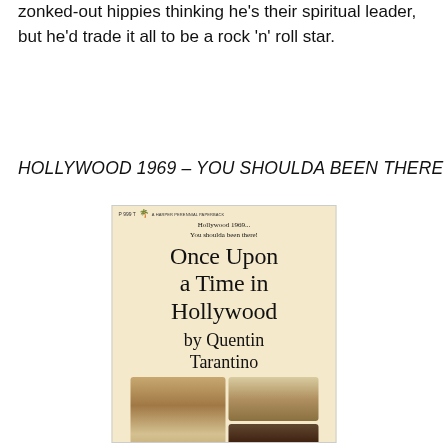zonked-out hippies thinking he's their spiritual leader, but he'd trade it all to be a rock 'n' roll star.
HOLLYWOOD 1969 – YOU SHOULDA BEEN THERE
[Figure (illustration): Book cover for 'Once Upon a Time in Hollywood by Quentin Tarantino'. Cream/beige paperback cover with subtitle 'Hollywood 1969... You shoulda been there!' and three film stills showing characters from the movie.]